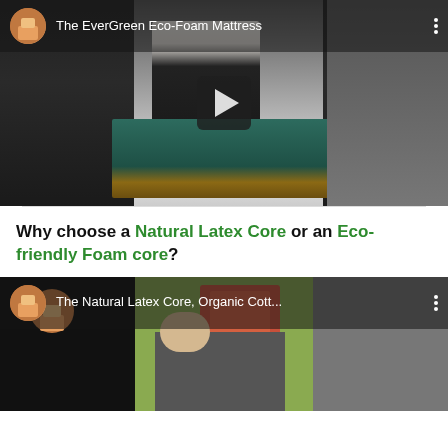[Figure (screenshot): YouTube video thumbnail showing 'The EverGreen Eco-Foam Mattress' with a person in a white shirt handling a mattress, channel icon, play button, and three-dot menu]
Why choose a Natural Latex Core or an Eco-friendly Foam core?
[Figure (screenshot): YouTube video thumbnail showing 'The Natural Latex Core, Organic Cott...' with a person with blonde hair working at a table, channel icon, play button, and three-dot menu]